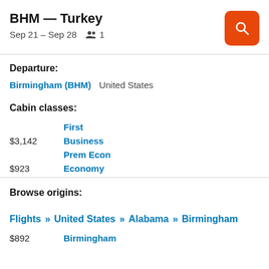BHM — Turkey
Sep 21 – Sep 28   👥 1
Departure:
Birmingham (BHM)   United States
Cabin classes:
First
$3,142   Business
Prem Econ
$923   Economy
Browse origins:
Flights » United States » Alabama » Birmingham
$892   Birmingham